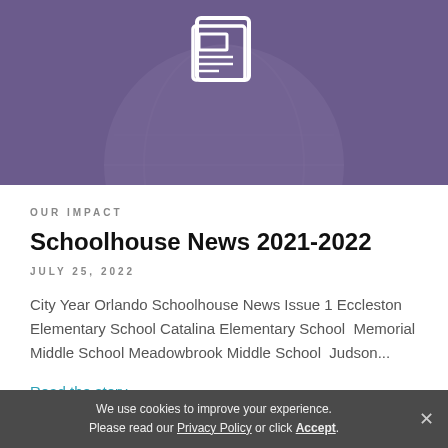[Figure (illustration): Purple banner with a newspaper icon (white outline) and a faint globe in the background]
OUR IMPACT
Schoolhouse News 2021-2022
JULY 25, 2022
City Year Orlando Schoolhouse News Issue 1 Eccleston Elementary School Catalina Elementary School  Memorial Middle School Meadowbrook Middle School  Judson...
Read the story
We use cookies to improve your experience. Please read our Privacy Policy or click Accept.